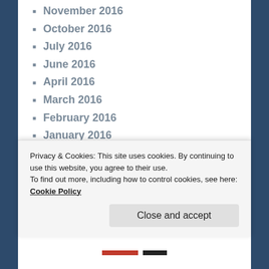November 2016
October 2016
July 2016
June 2016
April 2016
March 2016
February 2016
January 2016
December 2015
November 2015
October 2015
September 2015
August 2015
July 2015
Privacy & Cookies: This site uses cookies. By continuing to use this website, you agree to their use. To find out more, including how to control cookies, see here: Cookie Policy